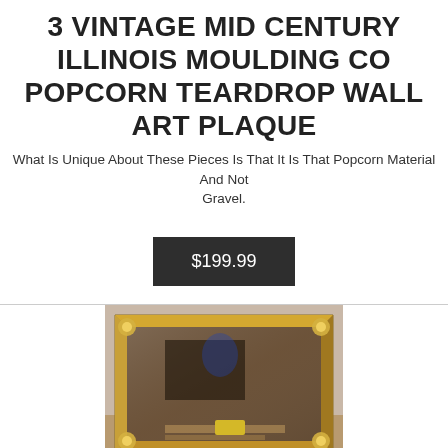3 VINTAGE MID CENTURY ILLINOIS MOULDING CO POPCORN TEARDROP WALL ART PLAQUE
What Is Unique About These Pieces Is That It Is That Popcorn Material And Not Gravel.
$199.99
[Figure (photo): A vintage mid century framed wall art plaque with a gold/bronze ornate frame featuring decorative corner details, photographed on a surface in a room setting.]